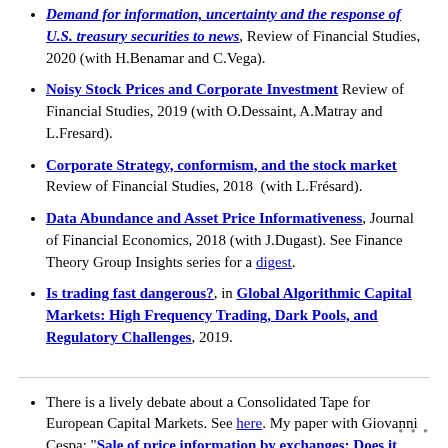Demand for information, uncertainty and the response of U.S. treasury securities to news, Review of Financial Studies, 2020 (with H.Benamar and C.Vega).
Noisy Stock Prices and Corporate Investment Review of Financial Studies, 2019 (with O.Dessaint, A.Matray and L.Fresard).
Corporate Strategy, conformism, and the stock market Review of Financial Studies, 2018 (with L.Frésard).
Data Abundance and Asset Price Informativeness, Journal of Financial Economics, 2018 (with J.Dugast). See Finance Theory Group Insights series for a digest.
Is trading fast dangerous?, in Global Algorithmic Capital Markets: High Frequency Trading, Dark Pools, and Regulatory Challenges, 2019.
There is a lively debate about a Consolidated Tape for European Capital Markets. See here. My paper with Giovanni Cespa: "Sale of price information by exchanges: Does it
• • •